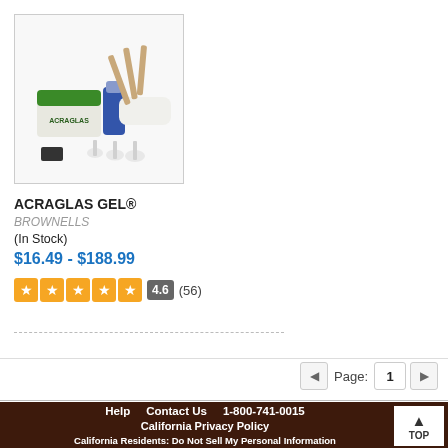[Figure (photo): Product photo of Acraglas Gel kit showing green lid jar, small blue bottle, white bowl, mixing sticks, measuring spoons, and other accessories]
ACRAGLAS GEL®
BROWNELLS
(In Stock)
$16.49 - $188.99
4.6 (56)
Help   Contact Us   1-800-741-0015   California Privacy Policy   California Residents: Do Not Sell My Personal Information